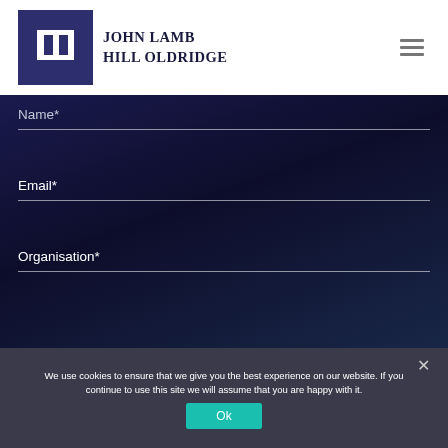[Figure (logo): John Lamb Hill Oldridge logo with dark blue square containing stylized JI letters and company name text]
Name*
Email*
Organisation*
We use cookies to ensure that we give you the best experience on our website. If you continue to use this site we will assume that you are happy with it.